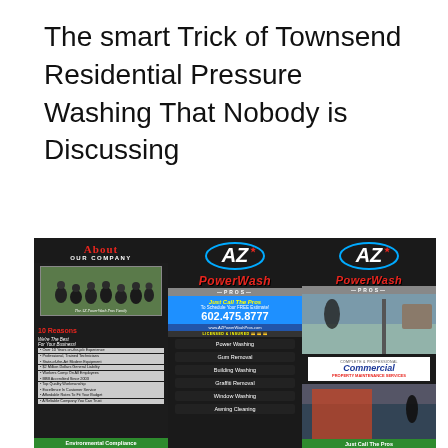The smart Trick of Townsend Residential Pressure Washing That Nobody is Discussing
[Figure (photo): Advertisement flyer for AZ PowerWash Pros showing three-panel brochure with 'About Our Company' section, AZ PowerWash Pros logo, services list including Power Washing, Gum Removal, Building Washing, Graffiti Removal, Window Washing, Awning Cleaning, phone number 602.475.8777, website www.AZPowerWashPros.com, 10 Reasons list, and Commercial Property Maintenance Services panel.]